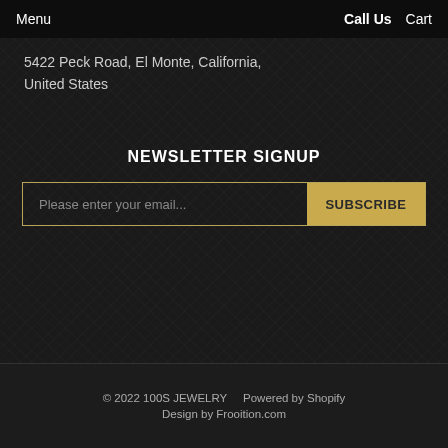Menu    Call Us    Cart
5422 Peck Road, El Monte, California, United States
NEWSLETTER SIGNUP
Please enter your email...   SUBSCRIBE
© 2022 100S JEWELRY    Powered by Shopify    Design by Frooition.com